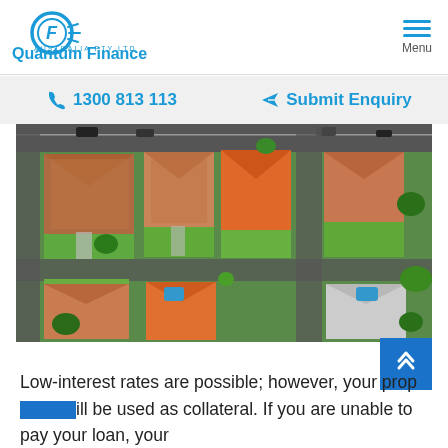Quantum Finance Australia PTY LTD — Menu
1300 813 113   Submit Enquiry
[Figure (photo): Aerial drone view of suburban Australian residential neighbourhood showing houses with terracotta and grey roofs, green lawns, driveways, and intersecting roads.]
Low-interest rates are possible; however, your property will be used as collateral. If you are unable to pay your loan, your